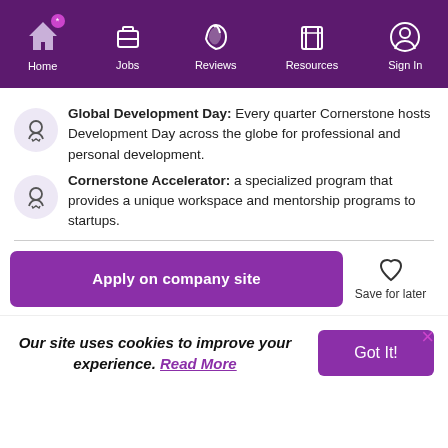Home | Jobs | Reviews | Resources | Sign In
Global Development Day: Every quarter Cornerstone hosts Development Day across the globe for professional and personal development.
Cornerstone Accelerator: a specialized program that provides a unique workspace and mentorship programs to startups.
Apply on company site
Save for later
Our site uses cookies to improve your experience. Read More
Got It!